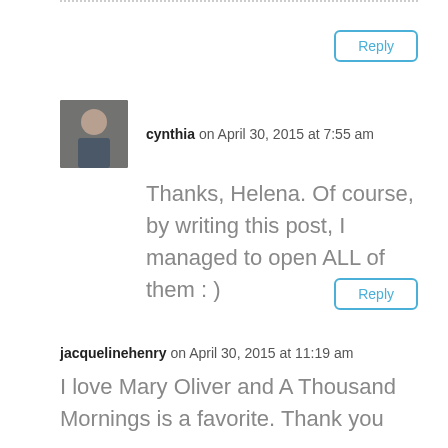Reply
cynthia on April 30, 2015 at 7:55 am
Thanks, Helena. Of course, by writing this post, I managed to open ALL of them : )
Reply
jacquelinehenry on April 30, 2015 at 11:19 am
I love Mary Oliver and A Thousand Mornings is a favorite. Thank you